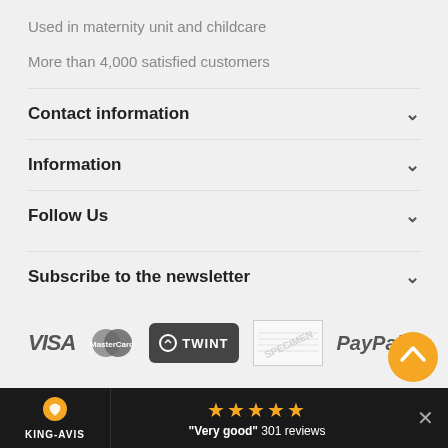Used in maternity unit and childcare
More than 4,000 satisfied customers
Contact information
Information
Follow Us
Subscribe to the newsletter
[Figure (logo): Payment method logos: VISA, MasterCard, TWINT, Specimen check, PayPal]
KING-AVIS ★★★★★ "Very good" 301 reviews